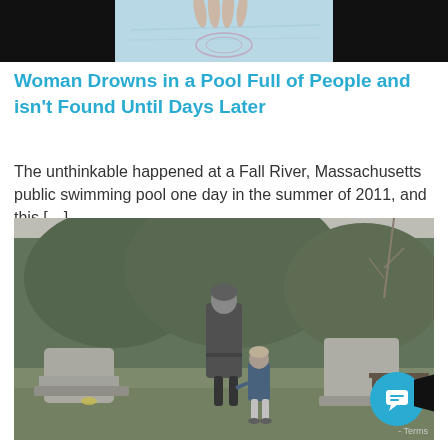[Figure (photo): Partial image at top of page showing a hand touching a surface with a light blue/teal background, cropped — black bars on left and right sides]
Woman Drowns in a Pool Full of People and isn't Found Until Days Later
The unthinkable happened at a Fall River, Massachusetts public swimming pool one day in the summer of 2011, and this […]
[Figure (photo): Black and white photograph of a woman in a long coat and a small child standing in a cemetery, viewed from behind, facing gravestones and hedges. A bench is visible on the right. Green grass patches and flowers near the graves.]